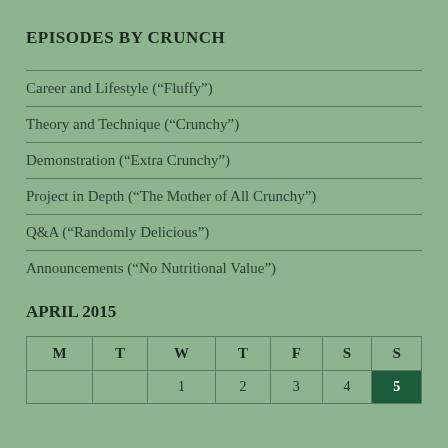EPISODES BY CRUNCH
Career and Lifestyle (“Fluffy”)
Theory and Technique (“Crunchy”)
Demonstration (“Extra Crunchy”)
Project in Depth (“The Mother of All Crunchy”)
Q&A (“Randomly Delicious”)
Announcements (“No Nutritional Value”)
APRIL 2015
| M | T | W | T | F | S | S |
| --- | --- | --- | --- | --- | --- | --- |
|  |  | 1 | 2 | 3 | 4 | 5 |